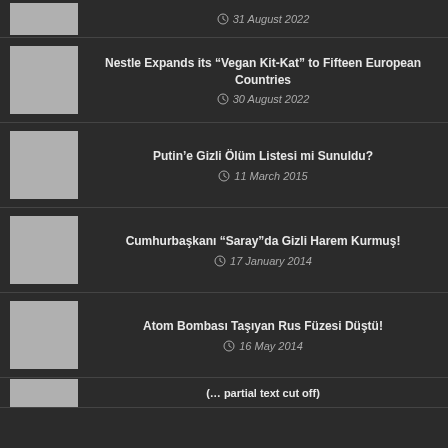31 August 2022
Nestle Expands its “Vegan Kit-Kat” to Fifteen European Countries | 30 August 2022
Putin’e Gizli Ölüm Listesi mi Sunuldu? | 11 March 2015
Cumhurbaşkanı “Saray”da Gizli Harem Kurmuş! | 17 January 2014
Atom Bombası Taşıyan Rus Füzesi Düştü! | 16 May 2014
(partial text cut off at bottom)